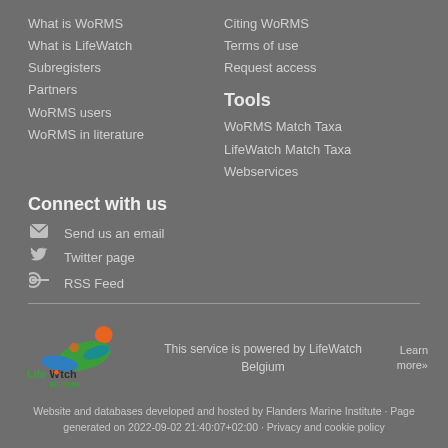What is WoRMS
What is LifeWatch
Subregisters
Partners
WoRMS users
WoRMS in literature
Citing WoRMS
Terms of use
Request access
Tools
WoRMS Match Taxa
LifeWatch Match Taxa
Webservices
Connect with us
Send us an email
Twitter page
RSS Feed
[Figure (logo): LifeWatch Belgium logo with colorful bird and leaf design]
This service is powered by LifeWatch Belgium
Learn more»
Website and databases developed and hosted by Flanders Marine Institute · Page generated on 2022-09-02 21:40:07+02:00 · Privacy and cookie policy